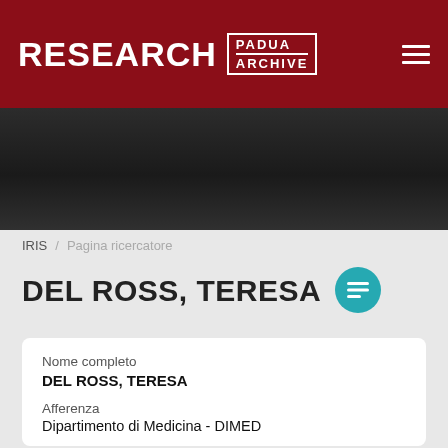[Figure (logo): Research Padua Archive logo on dark red header bar with hamburger menu icon]
[Figure (photo): Dark gradient banner below the header]
IRIS / Pagina ricercatore
DEL ROSS, TERESA
Nome completo
DEL ROSS, TERESA
Afferenza
Dipartimento di Medicina - DIMED